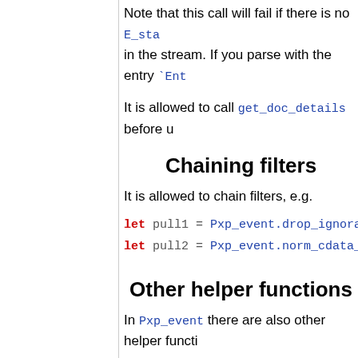Note that this call will fail if there is no E_sta in the stream. If you parse with the entry `Ent
It is allowed to call get_doc_details before u
Chaining filters
It is allowed to chain filters, e.g.
let pull1 = Pxp_event.drop_ignorable_w
let pull2 = Pxp_event.norm_cdata_filte
Other helper functions
In Pxp_event there are also other helper functi
conversion of pull streams to and from l
concatenation of pull streams
extraction of nodes from pull streams
printing of pull streams
split namespace names